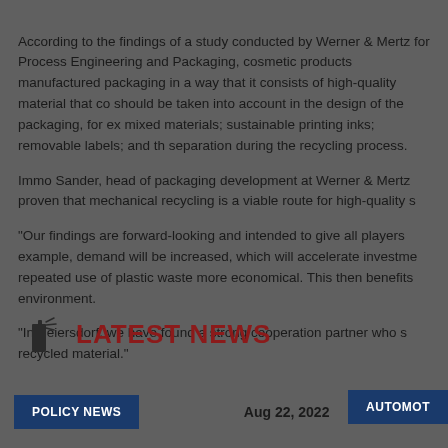According to the findings of a study conducted by Werner & Mertz for Process Engineering and Packaging, cosmetic products manufactured packaging in a way that it consists of high-quality material that co should be taken into account in the design of the packaging, for ex mixed materials; sustainable printing inks; removable labels; and th separation during the recycling process.
Immo Sander, head of packaging development at Werner & Mertz proven that mechanical recycling is a viable route for high-quality s
"Our findings are forward-looking and intended to give all players example, demand will be increased, which will accelerate investme repeated use of plastic waste more economical. This then benefits environment.
"In Beiersdorf, we have found a strong cooperation partner who s recycled material."
LATEST NEWS
POLICY NEWS
Aug 22, 2022
AUTOMOT